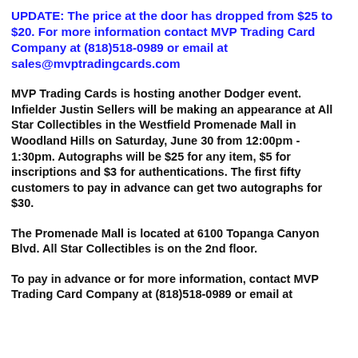UPDATE: The price at the door has dropped from $25 to $20. For more information contact MVP Trading Card Company at (818)518-0989 or email at sales@mvptradingcards.com
MVP Trading Cards is hosting another Dodger event. Infielder Justin Sellers will be making an appearance at All Star Collectibles in the Westfield Promenade Mall in Woodland Hills on Saturday, June 30 from 12:00pm - 1:30pm. Autographs will be $25 for any item, $5 for inscriptions and $3 for authentications. The first fifty customers to pay in advance can get two autographs for $30.
The Promenade Mall is located at 6100 Topanga Canyon Blvd. All Star Collectibles is on the 2nd floor.
To pay in advance or for more information, contact MVP Trading Card Company at (818)518-0989 or email at